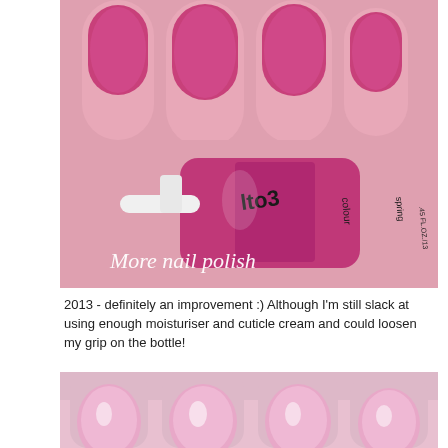[Figure (photo): Close-up photo of hand holding a hot pink nail polish bottle (appears to be a No7 or similar brand, labeled 'lto3 colour' and 'spring'), with nails painted in vibrant hot pink/magenta color. White text overlay reads 'More nail polish'.]
2013 - definitely an improvement :) Although I'm still slack at using enough moisturiser and cuticle cream and could loosen my grip on the bottle!
[Figure (photo): Close-up photo of four fingernails painted in a light bubblegum pink/pastel pink color, showing well-manicured rounded nails against skin.]